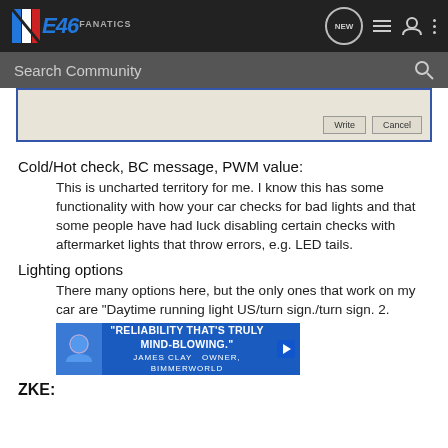[Figure (screenshot): E46 Fanatics forum navigation bar with logo, search, and icons]
[Figure (screenshot): Dialog box partial screenshot showing Write and Cancel buttons on beige background with blue border]
Cold/Hot check, BC message, PWM value:
This is uncharted territory for me. I know this has some functionality with how your car checks for bad lights and that some people have had luck disabling certain checks with aftermarket lights that throw errors, e.g. LED tails.
Lighting options
There many options here, but the only ones that work on my car are "Daytime running light US/turn sign./turn sign. 2.
[Figure (photo): Advertisement banner: RELIABILITY THAT'S TRULY MIND-BLOWING. James Clay, Owner, BimmerWorld]
ZKE: